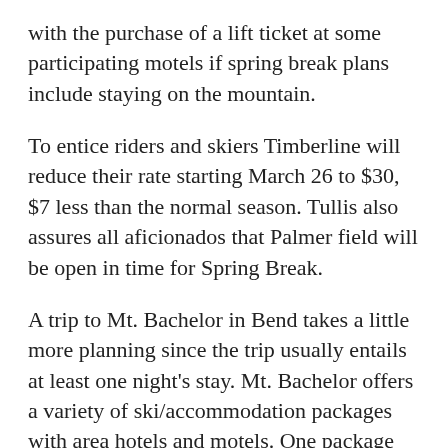with the purchase of a lift ticket at some participating motels if spring break plans include staying on the mountain.
To entice riders and skiers Timberline will reduce their rate starting March 26 to $30, $7 less than the normal season. Tullis also assures all aficionados that Palmer field will be open in time for Spring Break.
A trip to Mt. Bachelor in Bend takes a little more planning since the trip usually entails at least one night's stay. Mt. Bachelor offers a variety of ski/accommodation packages with area hotels and motels. One package offers five nights of lodging with four days of skiing for $65 a night per person. That breaks down to $33 for the lift ticket and $32 for the room and